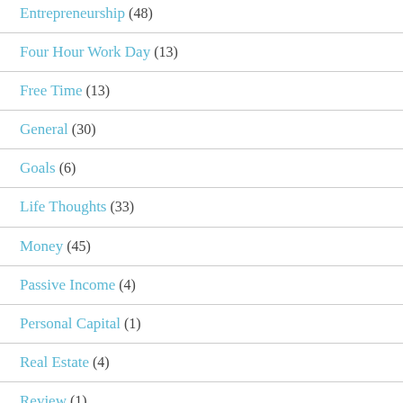Entrepreneurship (48)
Four Hour Work Day (13)
Free Time (13)
General (30)
Goals (6)
Life Thoughts (33)
Money (45)
Passive Income (4)
Personal Capital (1)
Real Estate (4)
Review (1)
Rideshare (6)